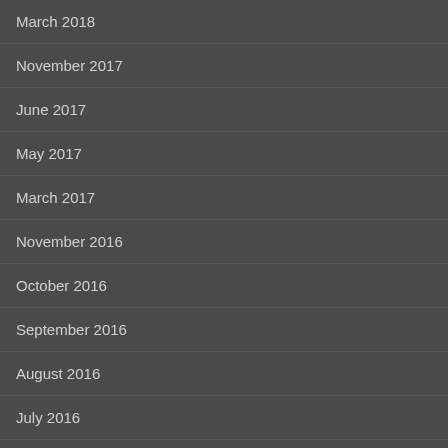March 2018
November 2017
June 2017
May 2017
March 2017
November 2016
October 2016
September 2016
August 2016
July 2016
April 2016
CONTACT CELTIC ROVER
Your Name (required)